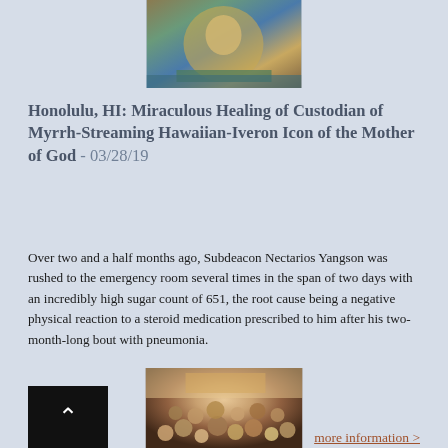[Figure (photo): Top portion of an Orthodox icon, showing religious imagery with decorative border and green/blue tones]
Honolulu, HI: Miraculous Healing of Custodian of Myrrh-Streaming Hawaiian-Iveron Icon of the Mother of God - 03/28/19
Over two and a half months ago, Subdeacon Nectarios Yangson was rushed to the emergency room several times in the span of two days with an incredibly high sugar count of 651, the root cause being a negative physical reaction to a steroid medication prescribed to him after his two-month-long bout with pneumonia.
more information >
[Figure (photo): Crowd of people gathered in an Orthodox church setting, viewed from above, with warm lighting]